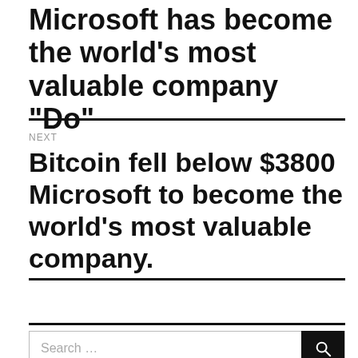Microsoft has become the world’s most valuable company “Do”
NEXT
Bitcoin fell below $3800 Microsoft to become the world’s most valuable company.
Search …